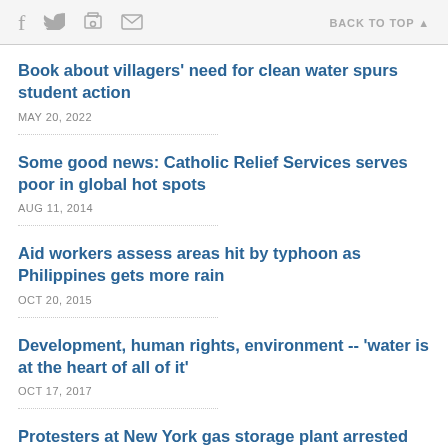f  [twitter]  [print]  [email]   BACK TO TOP ▲
Book about villagers' need for clean water spurs student action
MAY 20, 2022
Some good news: Catholic Relief Services serves poor in global hot spots
AUG 11, 2014
Aid workers assess areas hit by typhoon as Philippines gets more rain
OCT 20, 2015
Development, human rights, environment -- 'water is at the heart of all of it'
OCT 17, 2017
Protesters at New York gas storage plant arrested